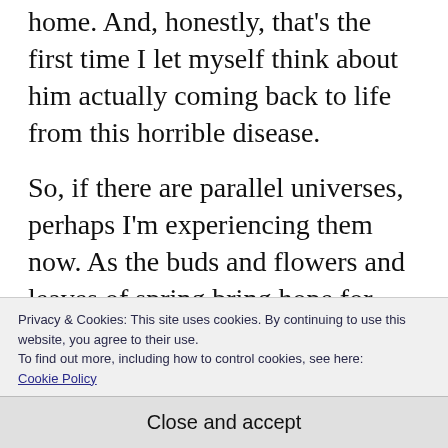home. And, honestly, that's the first time I let myself think about him actually coming back to life from this horrible disease.
So, if there are parallel universes, perhaps I'm experiencing them now. As the buds and flowers and leaves of spring bring hope for new life, so, too, perhaps my brother will be coming back to his family and back t…
Privacy & Cookies: This site uses cookies. By continuing to use this website, you agree to their use. To find out more, including how to control cookies, see here: Cookie Policy
Close and accept